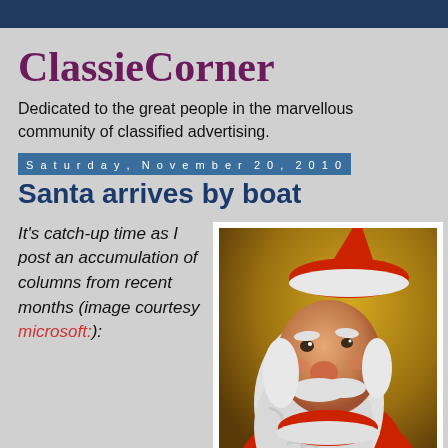ClassieCorner
Dedicated to the great people in the marvellous community of classified advertising.
Saturday, November 20, 2010
Santa arrives by boat
It's catch-up time as I post an accumulation of columns from recent months (image courtesy microsoft:):
[Figure (illustration): Vintage illustration of Santa Claus face and upper body, with white beard and red hat, against a golden-brown background]